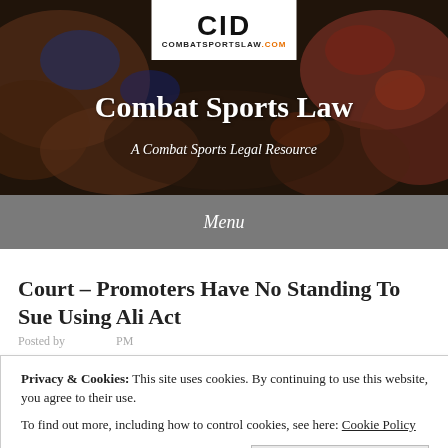[Figure (screenshot): Combat Sports Law website header banner with background photo of crabs/seafood, white logo box showing 'CID COMBATSPORTSLAW.COM', site title 'Combat Sports Law' and subtitle 'A Combat Sports Legal Resource']
Menu
Court – Promoters Have No Standing To Sue Using Ali Act
Privacy & Cookies: This site uses cookies. By continuing to use this website, you agree to their use. To find out more, including how to control cookies, see here: Cookie Policy
competitive way was dismissed by the US District Court,